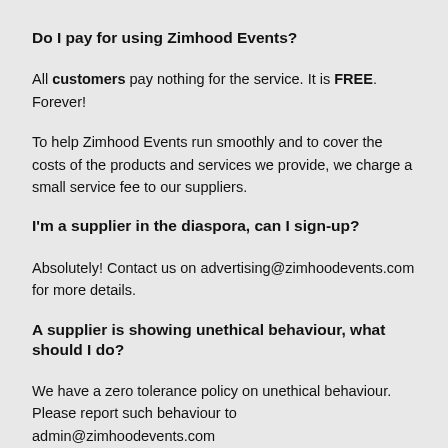Do I pay for using Zimhood Events?
All customers pay nothing for the service. It is FREE. Forever!
To help Zimhood Events run smoothly and to cover the costs of the products and services we provide, we charge a small service fee to our suppliers.
I'm a supplier in the diaspora, can I sign-up?
Absolutely! Contact us on advertising@zimhoodevents.com for more details.
A supplier is showing unethical behaviour, what should I do?
We have a zero tolerance policy on unethical behaviour. Please report such behaviour to admin@zimhoodevents.com